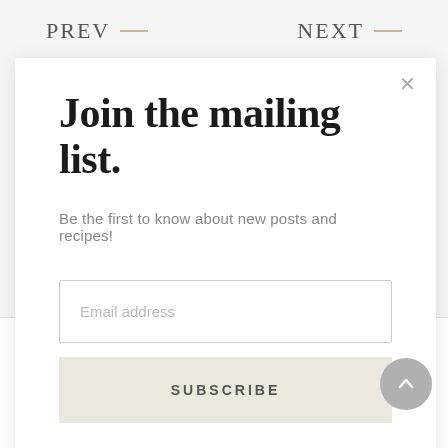PREV
NEXT
Join the mailing list.
Be the first to know about new posts and recipes!
Email address
SUBSCRIBE
LEAVE A REPLY